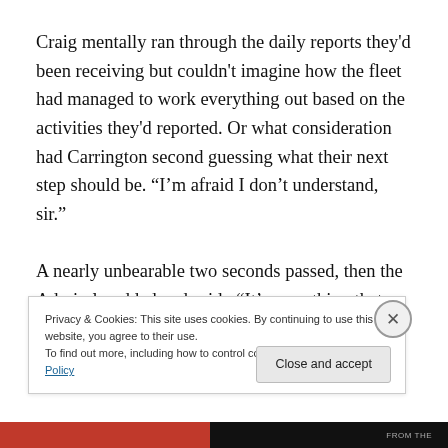Craig mentally ran through the daily reports they'd been receiving but couldn't imagine how the fleet had managed to work everything out based on the activities they'd reported. Or what consideration had Carrington second guessing what their next step should be. “I’m afraid I don’t understand, sir.”

A nearly unbearable two seconds passed, then the Admiral nodded and said, “It’s something that happened
Privacy & Cookies: This site uses cookies. By continuing to use this website, you agree to their use.
To find out more, including how to control cookies, see here: Cookie Policy
Close and accept